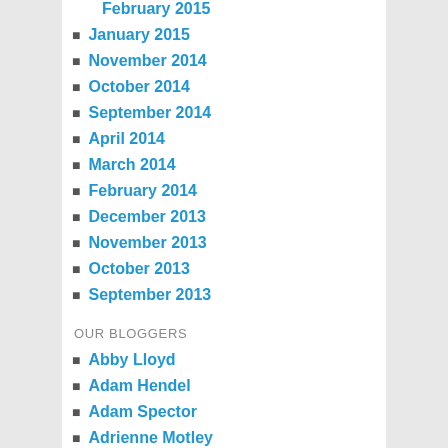January 2015
November 2014
October 2014
September 2014
April 2014
March 2014
February 2014
December 2013
November 2013
October 2013
September 2013
OUR BLOGGERS
Abby Lloyd
Adam Hendel
Adam Spector
Adrienne Motley
Alejandro Granda
Alex Goldman
Alexa Eckembrecher